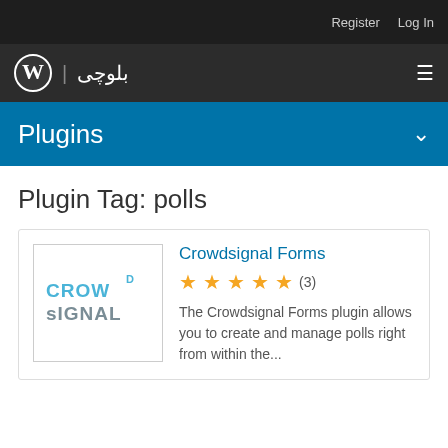Register  Log In
WordPress logo | بلوچی  ☰
Plugins ∨
Plugin Tag: polls
Crowdsignal Forms
★★★★★ (3)
The Crowdsignal Forms plugin allows you to create and manage polls right from within the...